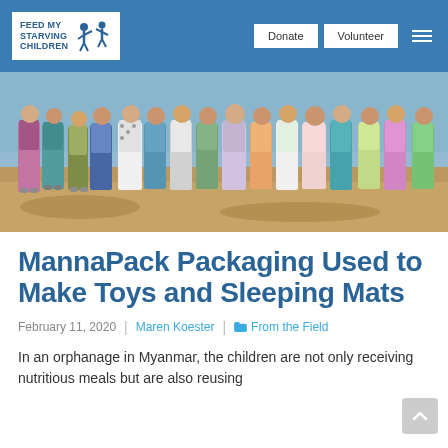Feed My Starving Children | Donate | Volunteer
[Figure (photo): A row of children standing together in an outdoor setting, photographed from approximately waist-down, showing colorful clothing and sandals on sandy ground.]
MannaPack Packaging Used to Make Toys and Sleeping Mats
February 11, 2020 | Maren Koester | From the Field
In an orphanage in Myanmar, the children are not only receiving nutritious meals but are also reusing MannaPack packaging...